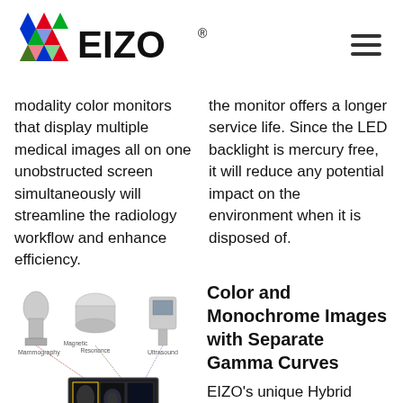EIZO
modality color monitors that display multiple medical images all on one unobstructed screen simultaneously will streamline the radiology workflow and enhance efficiency.
the monitor offers a longer service life. Since the LED backlight is mercury free, it will reduce any potential impact on the environment when it is disposed of.
[Figure (illustration): Diagram showing medical imaging modalities (Mammography, Magnetic Resonance, Ultrasound) feeding into a multi-modality color monitor display showing multiple medical images simultaneously.]
Color and Monochrome Images with Separate Gamma Curves
EIZO's unique Hybrid Gamma function distinguishes whether the images being